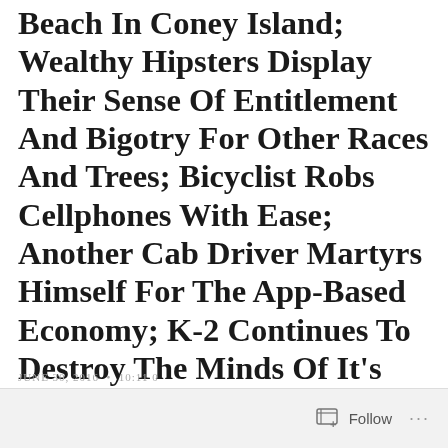Beach In Coney Island; Wealthy Hipsters Display Their Sense Of Entitlement And Bigotry For Other Races And Trees; Bicyclist Robs Cellphones With Ease; Another Cab Driver Martyrs Himself For The App-Based Economy; K-2 Continues To Destroy The Minds Of It’s Abusers; Diner From Goodfellas Movie Gets Whacked With Flame And More And More Stabbings, Shootings, Gang Attacks And Larceny.
JUNE 30, 2016 • 10:11 0   Follow   ...